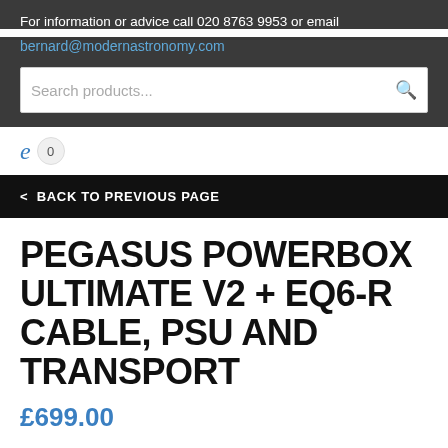For information or advice call 020 8763 9953 or email
bernard@modernastronomy.com
Search products...
e 0
< BACK TO PREVIOUS PAGE
PEGASUS POWERBOX ULTIMATE V2 + EQ6-R CABLE, PSU AND TRANSPORT
£699.00